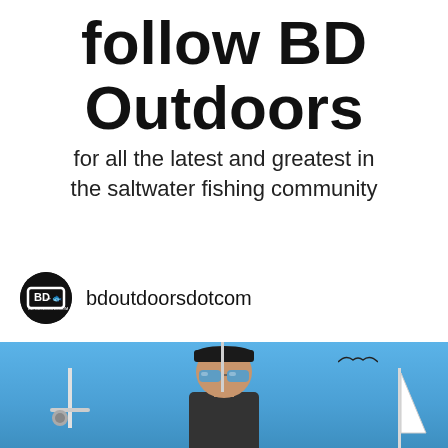follow BD Outdoors
for all the latest and greatest in the saltwater fishing community
bdoutdoorsdotcom
[Figure (photo): A person wearing a black cap and blue reflective sunglasses on a boat, photographed from below against a bright blue sky, with a seabird visible in the background]